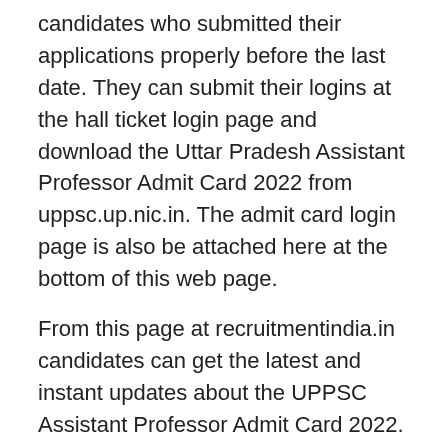candidates who submitted their applications properly before the last date. They can submit their logins at the hall ticket login page and download the Uttar Pradesh Assistant Professor Admit Card 2022 from uppsc.up.nic.in. The admit card login page is also be attached here at the bottom of this web page.
From this page at recruitmentindia.in candidates can get the latest and instant updates about the UPPSC Assistant Professor Admit Card 2022. The hall ticket is released 10 days or a week before the examination. As per that analysis, the UPPSC Lecturer Admit Card 2022 link is activated now. So candidates, frequently visit this page to know the exact release date of the hall ticket. Applicants remember that, on the UP Assistant Professor